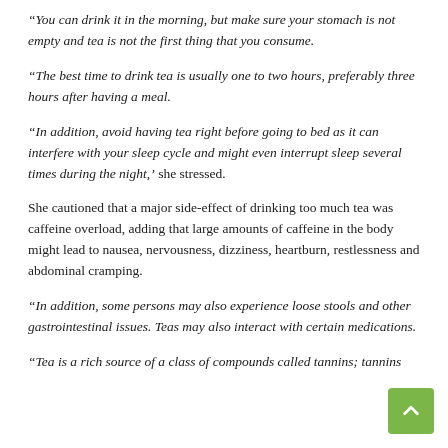“You can drink it in the morning, but make sure your stomach is not empty and tea is not the first thing that you consume.
“The best time to drink tea is usually one to two hours, preferably three hours after having a meal.
“In addition, avoid having tea right before going to bed as it can interfere with your sleep cycle and might even interrupt sleep several times during the night,’ she stressed.
She cautioned that a major side-effect of drinking too much tea was caffeine overload, adding that large amounts of caffeine in the body might lead to nausea, nervousness, dizziness, heartburn, restlessness and abdominal cramping.
“In addition, some persons may also experience loose stools and other gastrointestinal issues. Teas may also interact with certain medications.
“Tea is a rich source of a class of compounds called tannins; tannins